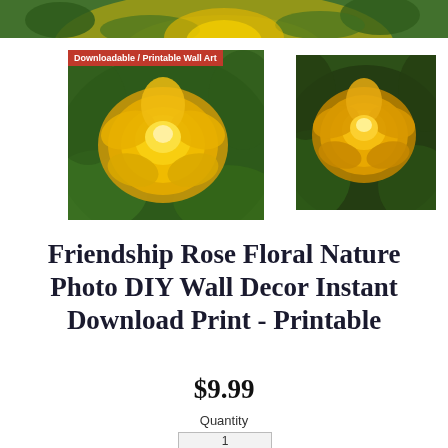[Figure (photo): Top banner showing a yellow rose photo partially cropped at the top of the page, green foliage background]
[Figure (photo): Left thumbnail of a yellow friendship rose with green background, red badge overlay reading 'Downloadable / Printable Wall Art']
[Figure (photo): Right thumbnail of a yellow friendship rose with dark green background]
Friendship Rose Floral Nature Photo DIY Wall Decor Instant Download Print - Printable
$9.99
Quantity
1